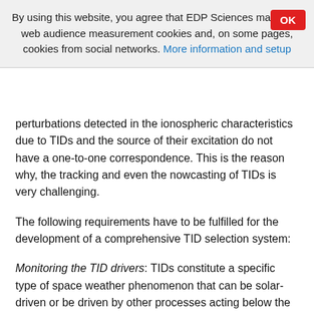By using this website, you agree that EDP Sciences may store web audience measurement cookies and, on some pages, cookies from social networks. More information and setup
perturbations detected in the ionospheric characteristics due to TIDs and the source of their excitation do not have a one-to-one correspondence. This is the reason why, the tracking and even the nowcasting of TIDs is very challenging.
The following requirements have to be fulfilled for the development of a comprehensive TID selection system:
Monitoring the TID drivers: TIDs constitute a specific type of space weather phenomenon that can be solar-driven or be driven by other processes acting below the ionosphere. LSTID drivers are physical characteristics that provide information on the level of solar-wind magnetosphere coupling during isolated substorms and on the impact of coronal mass ejections (CME) and corotating interaction region/solar wind